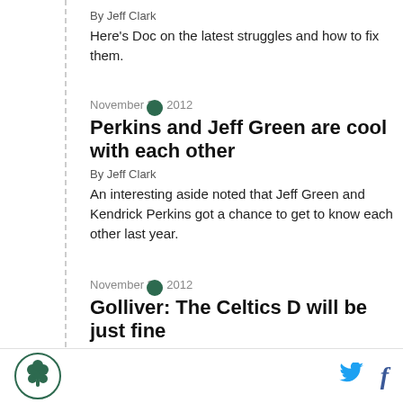By Jeff Clark
Here's Doc on the latest struggles and how to fix them.
November 23, 2012
Perkins and Jeff Green are cool with each other
By Jeff Clark
An interesting aside noted that Jeff Green and Kendrick Perkins got a chance to get to know each other last year.
November 22, 2012
Golliver: The Celtics D will be just fine
Celtics logo | Twitter | Facebook